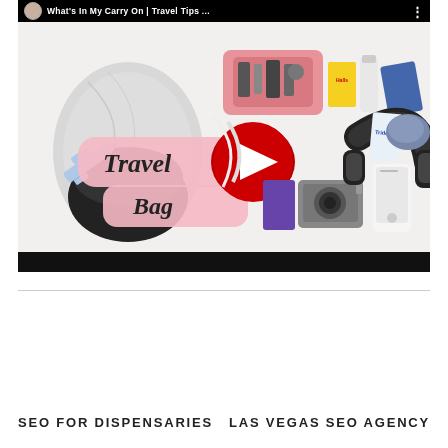[Figure (screenshot): YouTube video thumbnail showing 'What's In My Carry On | Travel Tips...' with travel bag items laid out including backpack, headphones, camera, toiletry bag, gum, and other travel items. Pink 'Travel Bag' label overlay with YouTube play button. Black progress bar at bottom.]
SEO FOR DISPENSARIES
LAS VEGAS SEO AGENCY